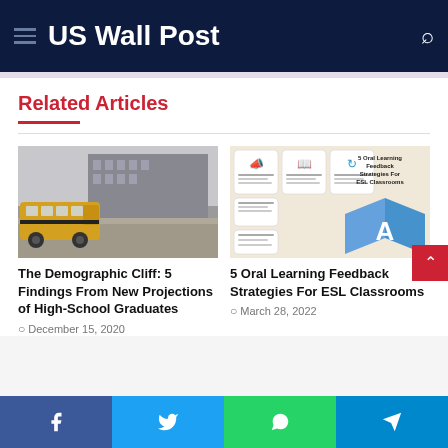US Wall Post
Related Articles
[Figure (photo): Yellow school bus parked in front of a large multi-story school building, black and white / muted photo]
The Demographic Cliff: 5 Findings From New Projections of High-School Graduates
December 15, 2020
[Figure (infographic): 5 Oral Learning Feedback Strategies For ESL Classrooms infographic on beige background with icons and text blocks]
5 Oral Learning Feedback Strategies For ESL Classrooms
March 28, 2022